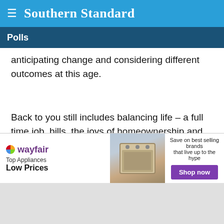Southern Standard
Polls
anticipating change and considering different outcomes at this age.
Back to you still includes balancing life – a full time job, bills, the joys of homeownership and continued maintenance, vehicle upkeep, loving my grown children, and shopping to keep the house stocked with essentials
[Figure (screenshot): Wayfair advertisement banner: Top Appliances Low Prices, Save on best selling brands that live up to the hype, Shop now button]